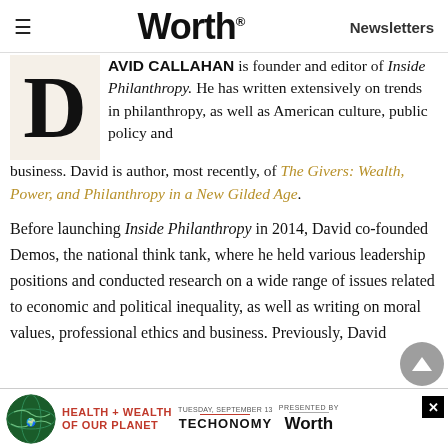Worth | Newsletters
DAVID CALLAHAN is founder and editor of Inside Philanthropy. He has written extensively on trends in philanthropy, as well as American culture, public policy and business. David is author, most recently, of The Givers: Wealth, Power, and Philanthropy in a New Gilded Age.
Before launching Inside Philanthropy in 2014, David co-founded Demos, the national think tank, where he held various leadership positions and conducted research on a wide range of issues related to economic and political inequality, as well as writing on moral values, professional ethics and business. Previously, David [held a position] and [more text] public